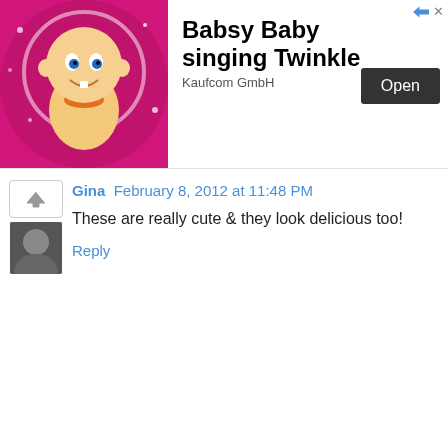[Figure (screenshot): Advertisement banner: animated baby cartoon character on pink background, with text 'Babsy Baby singing Twinkle', 'Kaufcom GmbH', and an 'Open' button. Small blue arrow icon and X in top right corner.]
Gina  February 8, 2012 at 11:48 PM
These are really cute & they look delicious too!
Reply